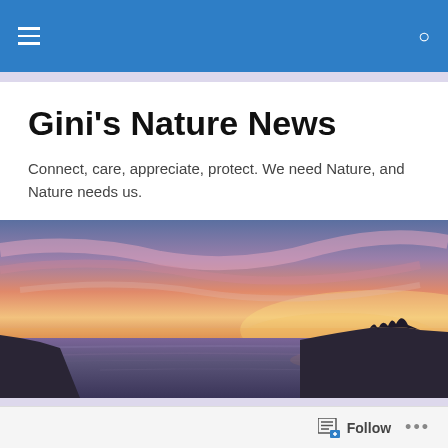Navigation bar with menu icon and search icon
Gini's Nature News
Connect, care, appreciate, protect. We need Nature, and Nature needs us.
[Figure (photo): Panoramic sunset photograph over a calm body of water with pink and orange clouds in the sky and dark silhouetted landmass on the right.]
Human Nature 2018
December 2018
Follow   ...